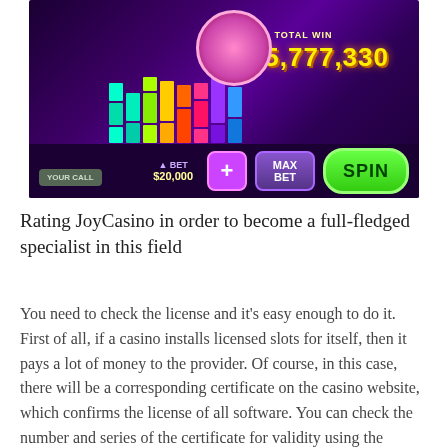[Figure (screenshot): Screenshot of a casino mobile game (JoyCasino) showing a slot machine interface with colorful blocks/bars, a female DJ character, a total win display of $145,777,330, a bet of $20,000, and buttons for plus, MAX BET, and SPIN on a dark purple background.]
Rating JoyCasino in order to become a full-fledged specialist in this field
You need to check the license and it's easy enough to do it. First of all, if a casino installs licensed slots for itself, then it pays a lot of money to the provider. Of course, in this case, there will be a corresponding certificate on the casino website, which confirms the license of all software. You can check the number and series of the certificate for validity using the official website of the provider. Yes, of course, the provider is responsible for issuing certificates, so only decent and honest institutions receive the document. You spend a certain amount of time checking the license, but this will be a guarantee that the game is being